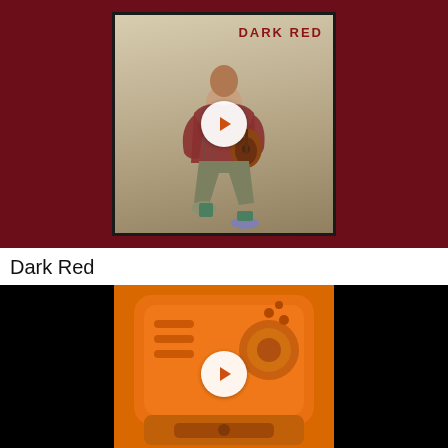[Figure (photo): Video thumbnail showing album art for 'Dark Red' — a man kneeling on one knee holding a guitar, wearing a plaid shirt and khaki pants, against a beige background. Dark red colored background surrounds the album art. A white circular play button overlay is centered on the image.]
Dark Red
[Figure (photo): Video thumbnail showing a close-up of an orange chainsaw or power tool engine/housing on a dark/black background. A white circular play button overlay is centered on the image.]